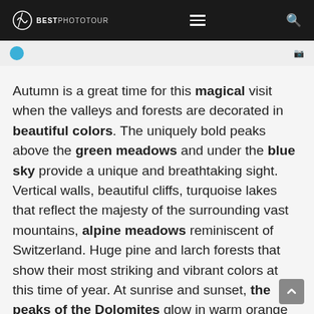BESTPHOTOTOUR
Autumn is a great time for this magical visit when the valleys and forests are decorated in beautiful colors. The uniquely bold peaks above the green meadows and under the blue sky provide a unique and breathtaking sight. Vertical walls, beautiful cliffs, turquoise lakes that reflect the majesty of the surrounding vast mountains, alpine meadows reminiscent of Switzerland. Huge pine and larch forests that show their most striking and vibrant colors at this time of year. At sunrise and sunset, the peaks of the Dolomites glow in warm orange and gold. Join this Dolomite photography tour; a journey that offers photographer opportunities beyond any